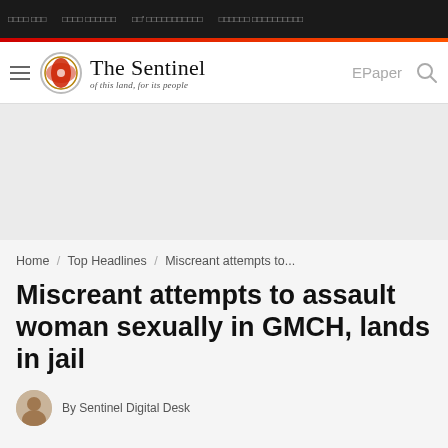The Sentinel – of this land, for its people
Home / Top Headlines / Miscreant attempts to...
Miscreant attempts to assault woman sexually in GMCH, lands in jail